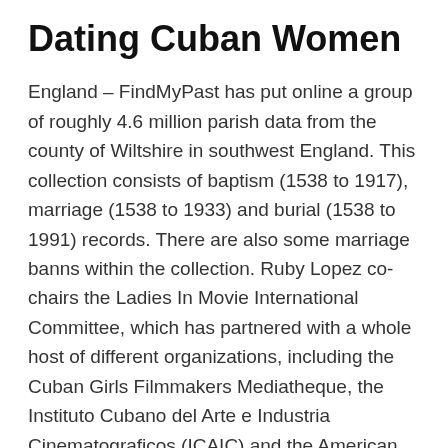Dating Cuban Women
England – FindMyPast has put online a group of roughly 4.6 million parish data from the county of Wiltshire in southwest England. This collection consists of baptism (1538 to 1917), marriage (1538 to 1933) and burial (1538 to 1991) records. There are also some marriage banns within the collection. Ruby Lopez co-chairs the Ladies In Movie International Committee, which has partnered with a whole host of different organizations, including the Cuban Girls Filmmakers Mediatheque, the Instituto Cubano del Arte e Industria Cinematograficos (ICAIC) and the American Cinematheque, to convey the filmmakers to the three U.S. cities.
Thinking About Elements For Cuban Women